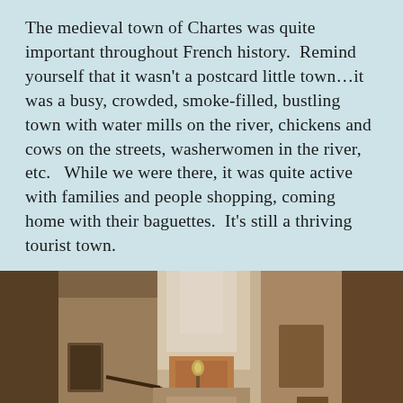The medieval town of Chartes was quite important throughout French history.  Remind yourself that it wasn't a postcard little town…it was a busy, crowded, smoke-filled, bustling town with water mills on the river, chickens and cows on the streets, washerwomen in the river, etc.   While we were there, it was quite active with families and people shopping, coming home with their baguettes.  It's still a thriving tourist town.
[Figure (photo): A narrow medieval alleyway in Chartres, France, viewed looking upward. Tall stone/stucco buildings with warm brown and beige tones flank both sides. A wall-mounted iron lamp bracket extends from the left building. In the distance between the buildings, a bright sky and the roof of another building are visible, along with a street lantern. The photograph has a warm sepia-toned quality.]